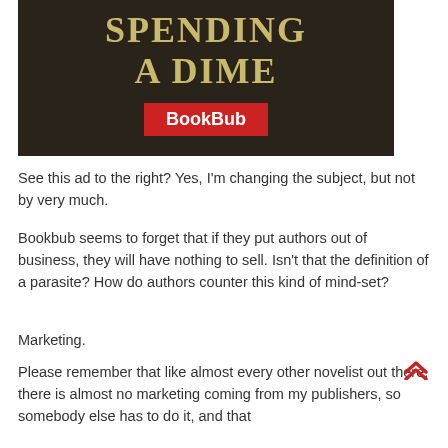[Figure (illustration): Book advertisement image with dark background showing text 'SPENDING A DIME' in gold serif font, and a red BookBub badge/logo at the bottom center.]
See this ad to the right? Yes, I'm changing the subject, but not by very much.
Bookbub seems to forget that if they put authors out of business, they will have nothing to sell. Isn't that the definition of a parasite? How do authors counter this kind of mind-set?
Marketing.
Please remember that like almost every other novelist out there, there is almost no marketing coming from my publishers, so somebody else has to do it, and that